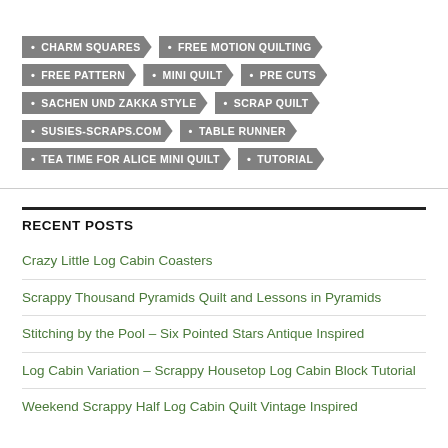CHARM SQUARES
FREE MOTION QUILTING
FREE PATTERN
MINI QUILT
PRE CUTS
SACHEN UND ZAKKA STYLE
SCRAP QUILT
SUSIES-SCRAPS.COM
TABLE RUNNER
TEA TIME FOR ALICE MINI QUILT
TUTORIAL
RECENT POSTS
Crazy Little Log Cabin Coasters
Scrappy Thousand Pyramids Quilt and Lessons in Pyramids
Stitching by the Pool – Six Pointed Stars Antique Inspired
Log Cabin Variation – Scrappy Housetop Log Cabin Block Tutorial
Weekend Scrappy Half Log Cabin Quilt Vintage Inspired